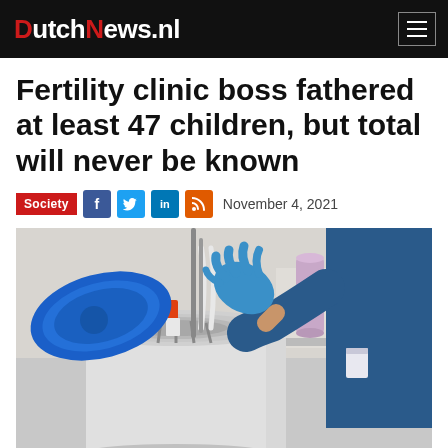DutchNews.nl
Fertility clinic boss fathered at least 47 children, but total will never be known
Society  November 4, 2021
[Figure (photo): A medical professional in blue scrubs and blue latex gloves handling a cryogenic storage container with a blue lid open, inserting equipment into the tank. A cryogenic vial with an orange cap is visible. Medical lab background.]